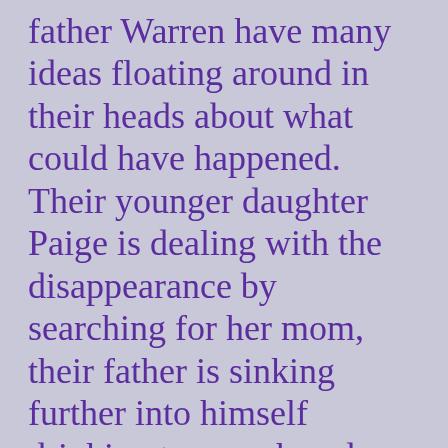father Warren have many ideas floating around in their heads about what could have happened. Their younger daughter Paige is dealing with the disappearance by searching for her mom, their father is sinking further into himself drinking too much and immersing himself in work, and 21 year old Lianna is the glue holding everyone together. She has had to